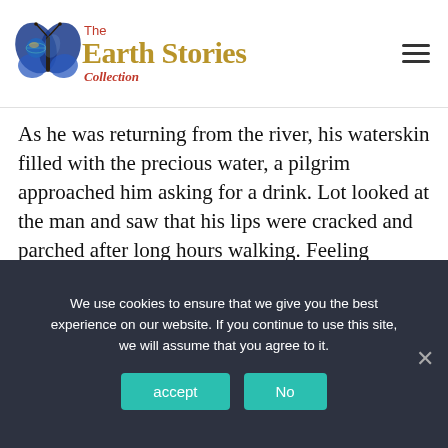[Figure (logo): The Earth Stories Collection logo: butterfly with globe imagery, text 'The Earth Stories Collection' in gold/red serif font]
As he was returning from the river, his waterskin filled with the precious water, a pilgrim approached him asking for a drink. Lot looked at the man and saw that his lips were cracked and parched after long hours walking. Feeling compassion for him, Lot handed him the waterskin along with his blessings. The pilgrim
We use cookies to ensure that we give you the best experience on our website. If you continue to use this site, we will assume that you agree to it.